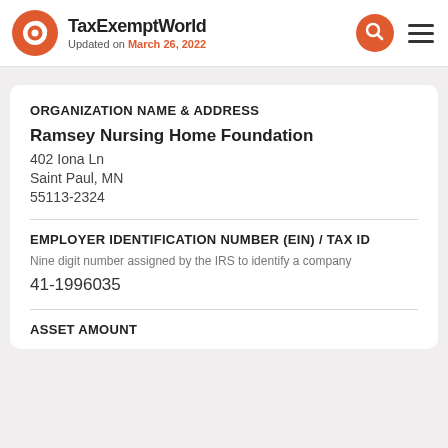TaxExemptWorld — Updated on March 26, 2022
ORGANIZATION NAME & ADDRESS
Ramsey Nursing Home Foundation
402 Iona Ln
Saint Paul, MN
55113-2324
EMPLOYER IDENTIFICATION NUMBER (EIN) / TAX ID
Nine digit number assigned by the IRS to identify a company
41-1996035
ASSET AMOUNT